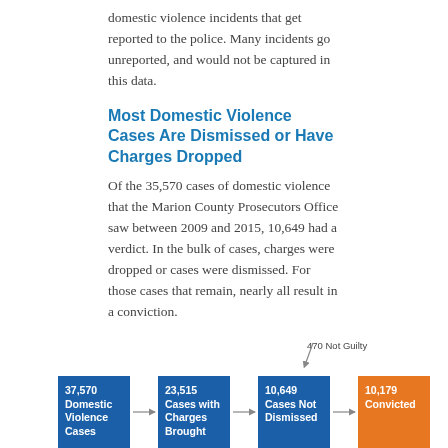domestic violence incidents that get reported to the police. Many incidents go unreported, and would not be captured in this data.
Most Domestic Violence Cases Are Dismissed or Have Charges Dropped
Of the 35,570 cases of domestic violence that the Marion County Prosecutors Office saw between 2009 and 2015, 10,649 had a verdict. In the bulk of cases, charges were dropped or cases were dismissed. For those cases that remain, nearly all result in a conviction.
How Domestic Violence Cases Progress Through Court
[Figure (flowchart): Flowchart showing how domestic violence cases progress through court. Four boxes connected by arrows: 37,570 Domestic Violence Cases → 23,515 Cases with Charges Brought → 10,649 Cases Not Dismissed → 10,179 Convicted (orange). A label '470 Not Guilty' branches off before the final box.]